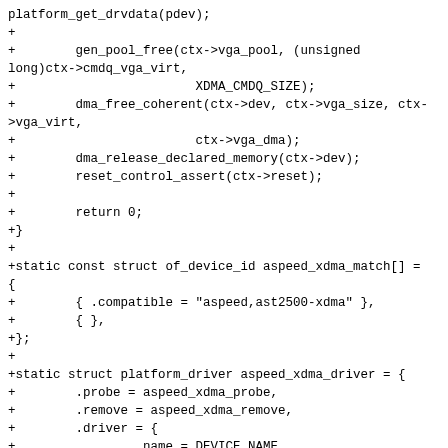platform_get_drvdata(pdev);
+
+        gen_pool_free(ctx->vga_pool, (unsigned long)ctx->cmdq_vga_virt,
+                        XDMA_CMDQ_SIZE);
+        dma_free_coherent(ctx->dev, ctx->vga_size, ctx->vga_virt,
+                        ctx->vga_dma);
+        dma_release_declared_memory(ctx->dev);
+        reset_control_assert(ctx->reset);
+
+        return 0;
+}
+
+static const struct of_device_id aspeed_xdma_match[] =
{
+        { .compatible = "aspeed,ast2500-xdma" },
+        { },
+};
+
+static struct platform_driver aspeed_xdma_driver = {
+        .probe = aspeed_xdma_probe,
+        .remove = aspeed_xdma_remove,
+        .driver = {
+                .name = DEVICE_NAME,
+                .of_match_table = aspeed_xdma_match,
+        },
+};
+
+module_platform_driver(aspeed_xdma_driver);